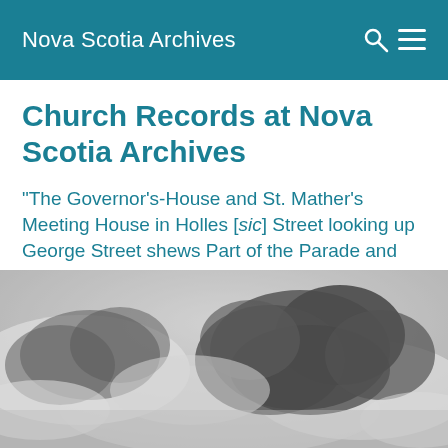Nova Scotia Archives
Church Records at Nova Scotia Archives
"The Governor's-House and St. Mather's Meeting House in Holles [sic] Street looking up George Street shews Part of the Parade and Citadel Hill at Halifax in Nova-Scotia", 1759
[Figure (photo): Black and white historical illustration showing cloudy sky, part of a 1759 engraving of Halifax, Nova Scotia]